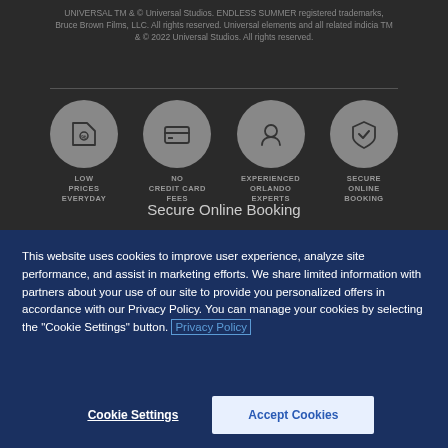UNIVERSAL TM & © Universal Studios. ENDLESS SUMMER registered trademarks, Bruce Brown Films, LLC. All rights reserved. Universal elements and all related indicia TM & © 2022 Universal Studios. All rights reserved.
[Figure (infographic): Four circular icons with labels: LOW PRICES EVERYDAY, NO CREDIT CARD FEES, EXPERIENCED ORLANDO EXPERTS, SECURE ONLINE BOOKING]
Secure Online Booking
This website uses cookies to improve user experience, analyze site performance, and assist in marketing efforts. We share limited information with partners about your use of our site to provide you personalized offers in accordance with our Privacy Policy. You can manage your cookies by selecting the "Cookie Settings" button. Privacy Policy
Cookie Settings
Accept Cookies